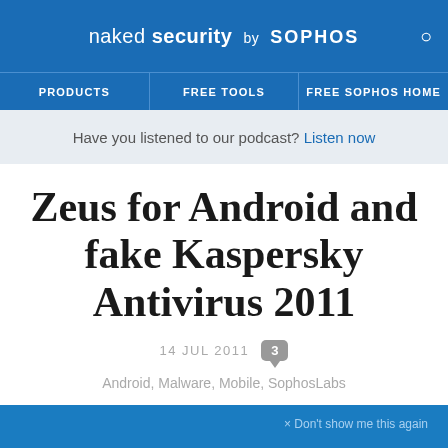naked security by SOPHOS
PRODUCTS  FREE TOOLS  FREE SOPHOS HOME
Have you listened to our podcast? Listen now
Zeus for Android and fake Kaspersky Antivirus 2011
14 JUL 2011  3
Android, Malware, Mobile, SophosLabs
× Don't show me this again
Get the latest security news in your inbox.